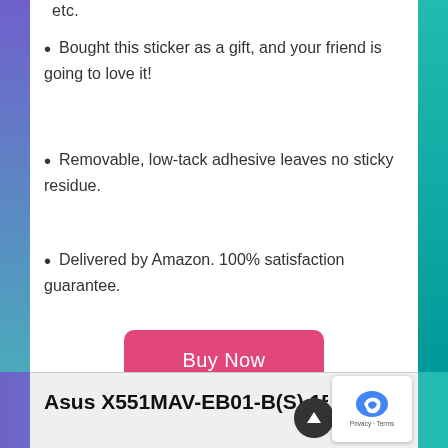etc.
Bought this sticker as a gift, and your friend is going to love it!
Removable, low-tack adhesive leaves no sticky residue.
Delivered by Amazon. 100% satisfaction guarantee.
Buy Now
Asus X551MAV-EB01-B(S) 15.6-Inch